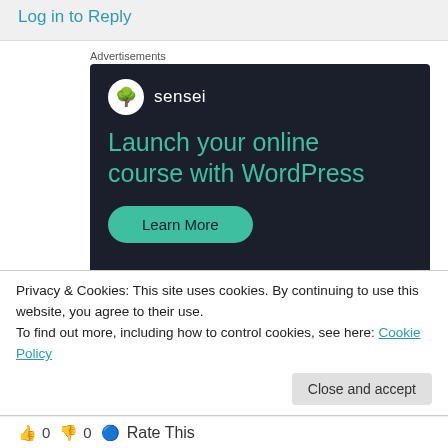Log in to Reply
Advertisements
[Figure (illustration): Sensei advertisement: dark background with Sensei logo (tree icon in white circle), headline 'Launch your online course with WordPress' in teal, a 'Learn More' teal button, and 'Powered by WordPress.com' at the bottom.]
Privacy & Cookies: This site uses cookies. By continuing to use this website, you agree to their use.
To find out more, including how to control cookies, see here: Cookie Policy
Close and accept
0  0  Rate This